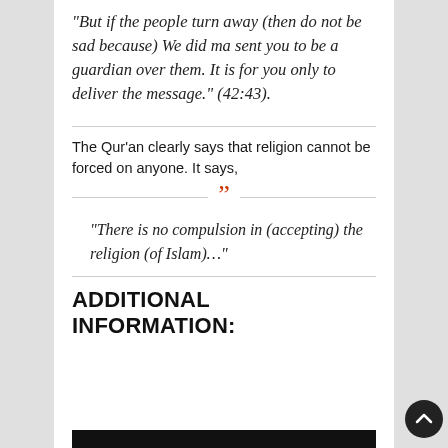“But if the people turn away (then do not be sad because) We did ma sent you to be a guardian over them. It is for you only to deliver the message.” (42:43).
The Qur’an clearly says that religion cannot be forced on anyone. It says,
“There is no compulsion in (accepting) the religion (of Islam)…”
ADDITIONAL INFORMATION: